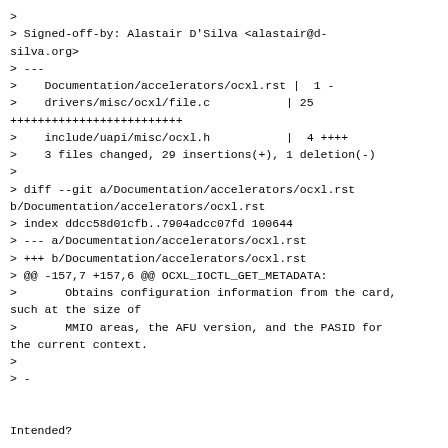>
> Signed-off-by: Alastair D'Silva <alastair@d-silva.org>
> ---
>    Documentation/accelerators/ocxl.rst |  1 -
>    drivers/misc/ocxl/file.c           | 25 +++++++++++++++++++++++++
>    include/uapi/misc/ocxl.h           |  4 ++++
>    3 files changed, 29 insertions(+), 1 deletion(-)
>
> diff --git a/Documentation/accelerators/ocxl.rst b/Documentation/accelerators/ocxl.rst
> index ddcc58d01cfb..7904adcc07fd 100644
> --- a/Documentation/accelerators/ocxl.rst
> +++ b/Documentation/accelerators/ocxl.rst
> @@ -157,7 +157,6 @@ OCXL_IOCTL_GET_METADATA:
>       Obtains configuration information from the card, such at the size of
>       MMIO areas, the AFU version, and the PASID for the current context.
>
> -


Intended?

Other than that,
Acked-by: Frederic Barrat <fbarrat@linux.vnet.ibm.com>